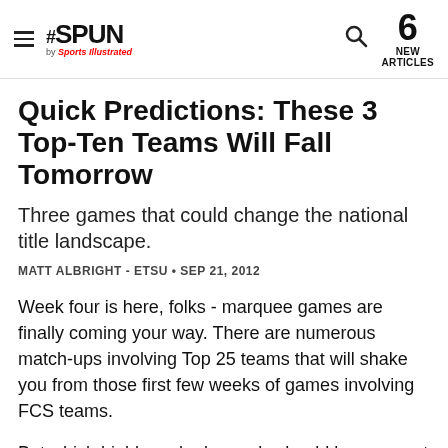THE SPUN by Sports Illustrated — 6 NEW ARTICLES
Quick Predictions: These 3 Top-Ten Teams Will Fall Tomorrow
Three games that could change the national title landscape.
MATT ALBRIGHT - ETSU • SEP 21, 2012
Week four is here, folks - marquee games are finally coming your way. There are numerous match-ups involving Top 25 teams that will shake you from those first few weeks of games involving FCS teams.
But which highly ranked squads should be on upset alert?